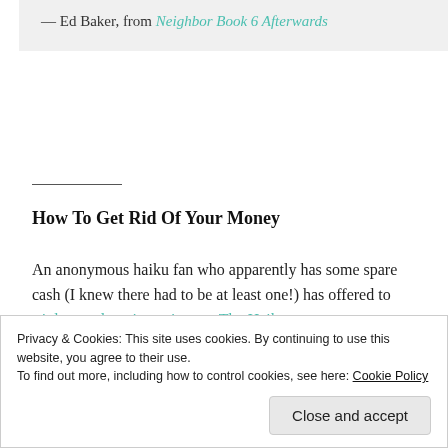— Ed Baker, from Neighbor Book 6 Afterwards
How To Get Rid Of Your Money
An anonymous haiku fan who apparently has some spare cash (I knew there had to be at least one!) has offered to triple any donations given to The Haiku
Privacy & Cookies: This site uses cookies. By continuing to use this website, you agree to their use. To find out more, including how to control cookies, see here: Cookie Policy
Close and accept